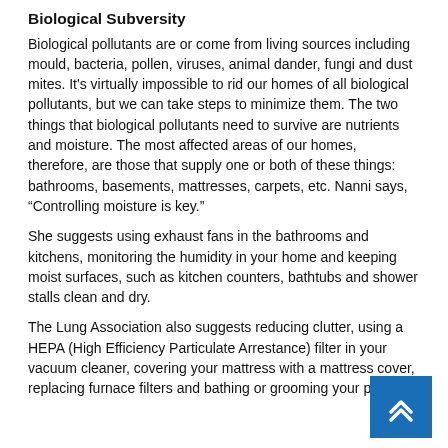Biological Subversity
Biological pollutants are or come from living sources including mould, bacteria, pollen, viruses, animal dander, fungi and dust mites. It's virtually impossible to rid our homes of all biological pollutants, but we can take steps to minimize them. The two things that biological pollutants need to survive are nutrients and moisture. The most affected areas of our homes, therefore, are those that supply one or both of these things: bathrooms, basements, mattresses, carpets, etc. Nanni says, “Controlling moisture is key.”
She suggests using exhaust fans in the bathrooms and kitchens, monitoring the humidity in your home and keeping moist surfaces, such as kitchen counters, bathtubs and shower stalls clean and dry.
The Lung Association also suggests reducing clutter, using a HEPA (High Efficiency Particulate Arrestance) filter in your vacuum cleaner, covering your mattress with a mattress cover, replacing furnace filters and bathing or grooming your pet